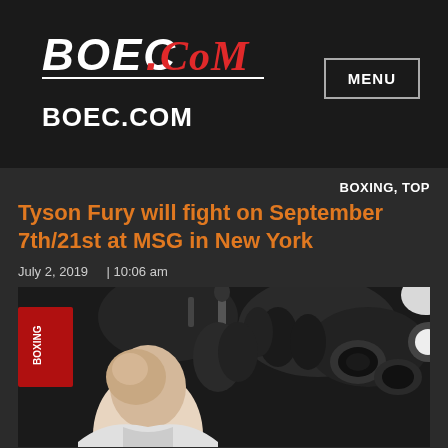[Figure (logo): BOEC.COM logo with white bold italic BOEC and red .CoM text with underline]
BOEC.COM
MENU
BOXING, TOP
Tyson Fury will fight on September 7th/21st at MSG in New York
July 2, 2019   | 10:06 am
[Figure (photo): Tyson Fury bald head in foreground at press conference surrounded by media photographers with cameras]